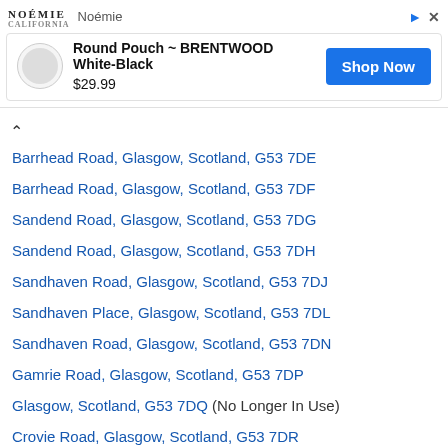[Figure (other): Advertisement banner for Noémie brand showing a Round Pouch BRENTWOOD White-Black product priced at $29.99 with a Shop Now button]
Barrhead Road, Glasgow, Scotland, G53 7DE
Barrhead Road, Glasgow, Scotland, G53 7DF
Sandend Road, Glasgow, Scotland, G53 7DG
Sandend Road, Glasgow, Scotland, G53 7DH
Sandhaven Road, Glasgow, Scotland, G53 7DJ
Sandhaven Place, Glasgow, Scotland, G53 7DL
Sandhaven Road, Glasgow, Scotland, G53 7DN
Gamrie Road, Glasgow, Scotland, G53 7DP
Glasgow, Scotland, G53 7DQ (No Longer In Use)
Crovie Road, Glasgow, Scotland, G53 7DR
Crovie Road, Glasgow, Scotland, G53 7DS
Crookston Road, Glasgow, Scotland, G53 7DT